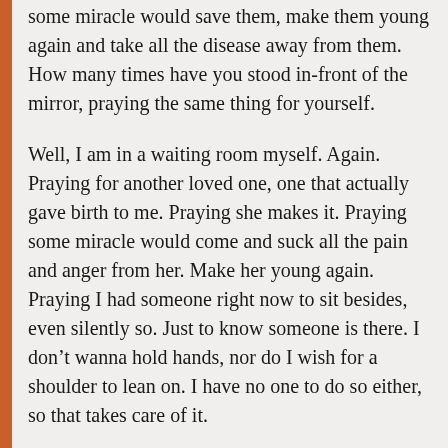some miracle would save them, make them young again and take all the disease away from them. How many times have you stood in-front of the mirror, praying the same thing for yourself.
Well, I am in a waiting room myself. Again. Praying for another loved one, one that actually gave birth to me. Praying she makes it. Praying some miracle would come and suck all the pain and anger from her. Make her young again. Praying I had someone right now to sit besides, even silently so. Just to know someone is there. I don't wanna hold hands, nor do I wish for a shoulder to lean on. I have no one to do so either, so that takes care of it.